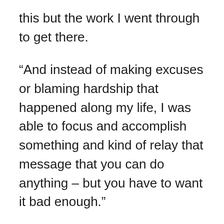this but the work I went through to get there.
“And instead of making excuses or blaming hardship that happened along my life, I was able to focus and accomplish something and kind of relay that message that you can do anything – but you have to want it bad enough.”
For anyone considering a similar test of two-wheeled endurance, DeKruif recommends choosing the right bike for the task and then being aware of the many ergonomic improvements that can be